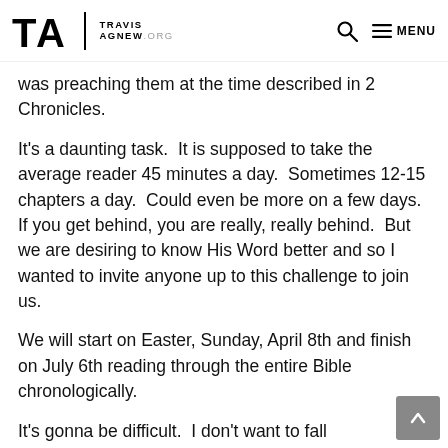TRAVIS AGNEW.ORG — Search — MENU
was preaching them at the time described in 2 Chronicles.
It's a daunting task.  It is supposed to take the average reader 45 minutes a day.  Sometimes 12-15 chapters a day.  Could even be more on a few days.  If you get behind, you are really, really behind.  But we are desiring to know His Word better and so I wanted to invite anyone up to this challenge to join us.
We will start on Easter, Sunday, April 8th and finish on July 6th reading through the entire Bible chronologically.
It's gonna be difficult.  I don't want to fall